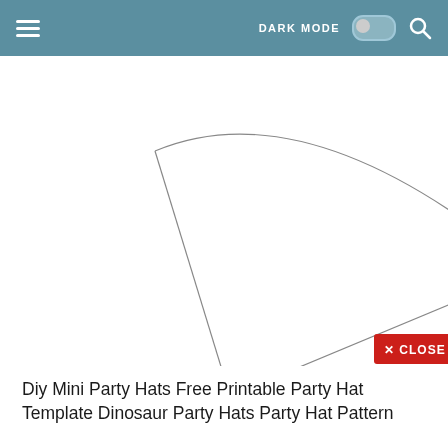DARK MODE [toggle] [search icon]
[Figure (illustration): A partial cone/fan shape outline (party hat template pattern) shown in a lightbox-style viewer with a red CLOSE button at the bottom center]
Diy Mini Party Hats Free Printable Party Hat Template Dinosaur Party Hats Party Hat Pattern
[Figure (illustration): A birthday hat template outline on white paper with text 'BIRTHDAY HAT TEMPLATE' in the upper left corner, showing the flat pattern shape of a party hat]